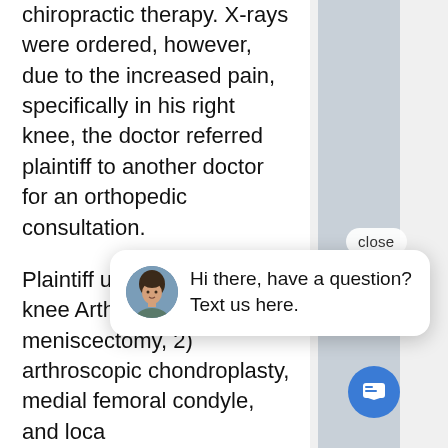chiropractic therapy. X-rays were ordered, however, due to the increased pain, specifically in his right knee, the doctor referred plaintiff to another doctor for an orthopedic consultation.
Plaintiff underwent right knee Arthroscopic partial meniscectomy, 2) arthroscopic chondroplasty, medial femoral condyle, and loca gutter. T that the surgery was successful.
Prior to the accident, plaintiff
[Figure (screenshot): Chat widget overlay showing a woman's avatar photo and the message 'Hi there, have a question? Text us here.' with a close button and a blue chat icon button.]